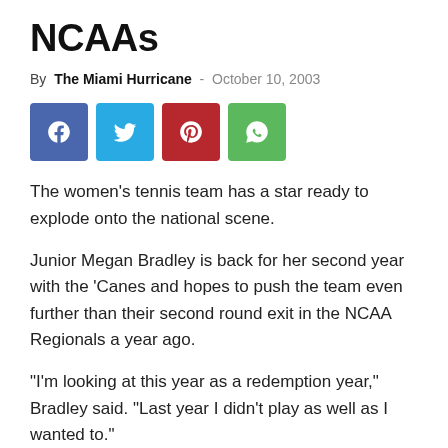NCAAs
By The Miami Hurricane - October 10, 2003
[Figure (infographic): Social media share buttons: Facebook (blue), Twitter (cyan), Pinterest (red), WhatsApp (green)]
The women's tennis team has a star ready to explode onto the national scene.
Junior Megan Bradley is back for her second year with the 'Canes and hopes to push the team even further than their second round exit in the NCAA Regionals a year ago.
“I’m looking at this year as a redemption year,” Bradley said. “Last year I didn’t play as well as I wanted to.”
Although she claims that she didn’t play too well, Bradley is ranked No. 34 in the country in the preseason polls and was